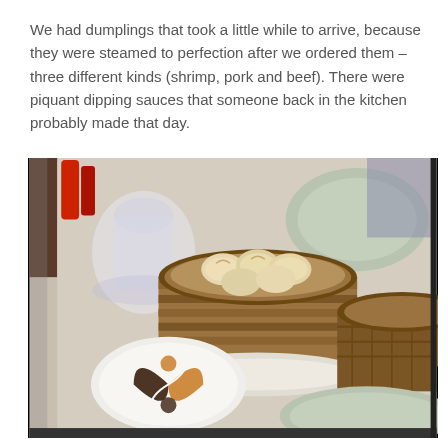We had dumplings that took a little while to arrive, because they were steamed to perfection after we ordered them – three different kinds (shrimp, pork and beef). There were piquant dipping sauces that someone back in the kitchen probably made that day.
[Figure (photo): A restaurant table with a bamboo steamer basket filled with dumplings, a yin-yang dipping sauce dish with two sauces (dark soy and orange), a glass water pitcher, a round plate, and another bamboo steamer basket on the right.]